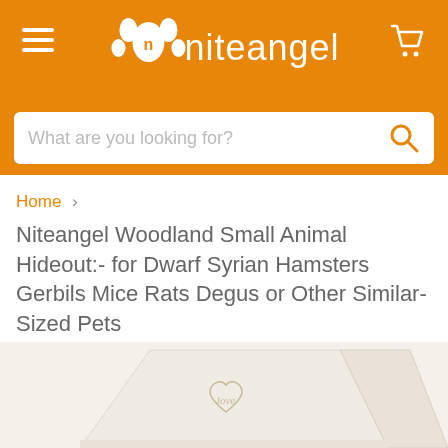niteangel
What are you looking for?
Home › Niteangel Woodland Small Animal Hideout:- for Dwarf Syrian Hamsters Gerbils Mice Rats Degus or Other Similar-Sized Pets
[Figure (photo): A cream/white ceramic small animal hideout with a heart and the word 'love' engraved on the side.]